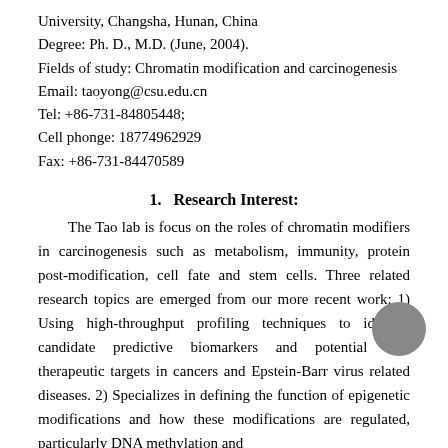University, Changsha, Hunan, China
Degree: Ph. D., M.D. (June, 2004).
Fields of study: Chromatin modification and carcinogenesis
Email: taoyong@csu.edu.cn
Tel: +86-731-84805448;
Cell phonge: 18774962929
Fax: +86-731-84470589
1.   Research Interest:
The Tao lab is focus on the roles of chromatin modifiers in carcinogenesis such as metabolism, immunity, protein post-modification, cell fate and stem cells. Three related research topics are emerged from our more recent work: 1) Using high-throughput profiling techniques to identify candidate predictive biomarkers and potential new therapeutic targets in cancers and Epstein-Barr virus related diseases. 2) Specializes in defining the function of epigenetic modifications and how these modifications are regulated, particularly DNA methylation and